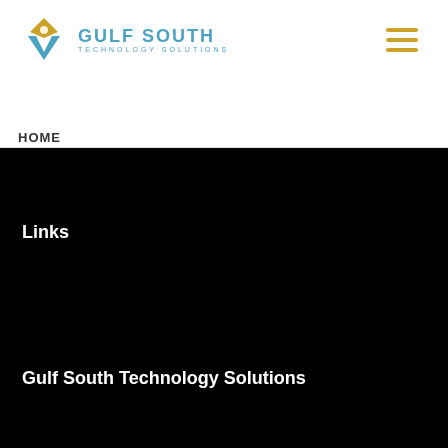[Figure (logo): Gulf South Technology Solutions logo with diamond/chevron icon and blue text]
Gulf South Technology Solutions
Links
Gulf South Technology Solutions